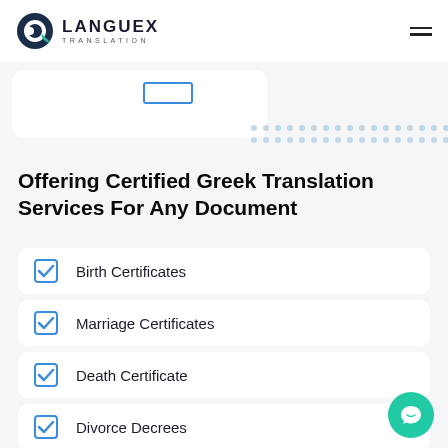LANGUEX TRANSLATION
Offering Certified Greek Translation Services For Any Document
Birth Certificates
Marriage Certificates
Death Certificate
Divorce Decrees